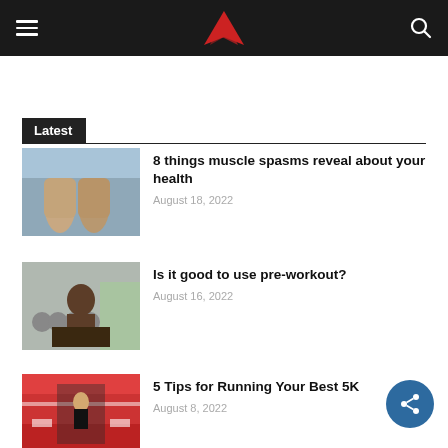Navigation header with hamburger menu, logo, and search icon
Latest
[Figure (photo): Close-up of person's muscular legs/knees from behind]
8 things muscle spasms reveal about your health
August 18, 2022
[Figure (photo): Man sitting cross-legged in a gym with kettlebells]
Is it good to use pre-workout?
August 16, 2022
[Figure (photo): Runner crossing finish line at a race event with red track]
5 Tips for Running Your Best 5K
August 8, 2022